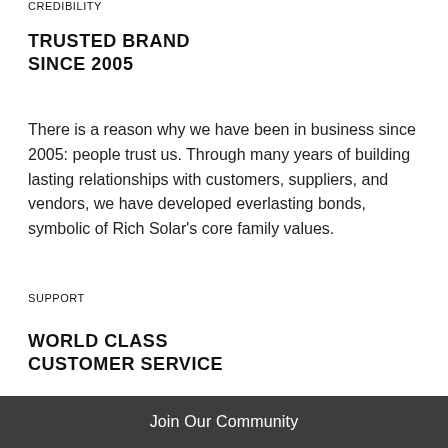CREDIBILITY
TRUSTED BRAND
SINCE 2005
There is a reason why we have been in business since 2005: people trust us. Through many years of building lasting relationships with customers, suppliers, and vendors, we have developed everlasting bonds, symbolic of Rich Solar's core family values.
SUPPORT
WORLD CLASS
CUSTOMER SERVICE
Join Our Community